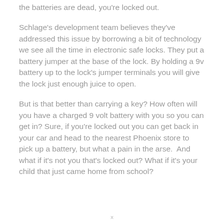the batteries are dead, you're locked out.
Schlage's development team believes they've addressed this issue by borrowing a bit of technology we see all the time in electronic safe locks. They put a battery jumper at the base of the lock. By holding a 9v battery up to the lock's jumper terminals you will give the lock just enough juice to open.
But is that better than carrying a key? How often will you have a charged 9 volt battery with you so you can get in? Sure, if you're locked out you can get back in your car and head to the nearest Phoenix store to pick up a battery, but what a pain in the arse.  And what if it's not you that's locked out? What if it's your child that just came home from school?
x